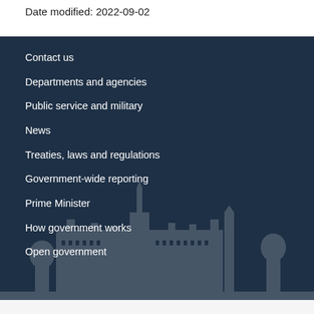Date modified: 2022-09-02
Contact us
Departments and agencies
Public service and military
News
Treaties, laws and regulations
Government-wide reporting
Prime Minister
How government works
Open government